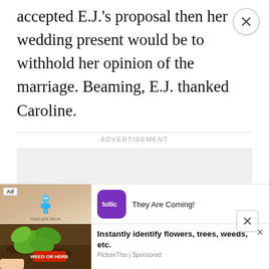accepted E.J.'s proposal then her wedding present would be to withhold her opinion of the marriage. Beaming, E.J. thanked Caroline.
ADVERTISEMENT
[Figure (other): Gray advertisement placeholder box]
[Figure (other): Ad banner: game app 'Hold and Move' by Rollic - They Are Coming!]
[Figure (other): Ad banner: PictureThis plant identification app - Instantly identify flowers, trees, weeds, etc. PictureThis | Sponsored]